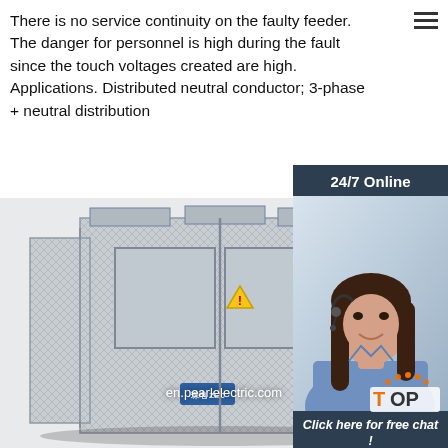There is no service continuity on the faulty feeder. The danger for personnel is high during the fault since the touch voltages created are high. Applications. Distributed neutral conductor; 3-phase + neutral distribution
[Figure (other): Orange 'Get Price' button]
[Figure (photo): 24/7 Online chat sidebar with customer service representative wearing headset, dark blue background, 'Click here for free chat!' text, and orange QUOTATION button]
[Figure (photo): Large industrial electrical equipment enclosure with metal mesh caging, warning labels, circuit breaker panels, branded with en.pearlelectric.com watermark, and orange TOP scroll-back indicator in bottom right]